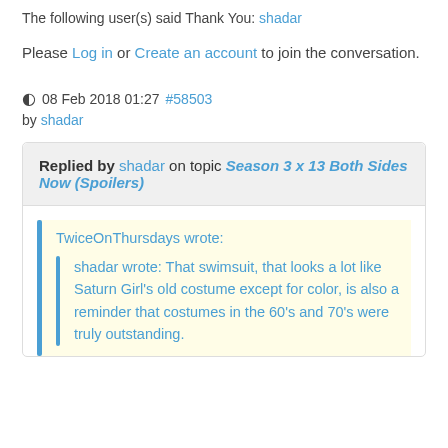The following user(s) said Thank You: shadar
Please Log in or Create an account to join the conversation.
08 Feb 2018 01:27 #58503
by shadar
Replied by shadar on topic Season 3 x 13 Both Sides Now (Spoilers)
TwiceOnThursdays wrote:
shadar wrote: That swimsuit, that looks a lot like Saturn Girl's old costume except for color, is also a reminder that costumes in the 60's and 70's were truly outstanding.